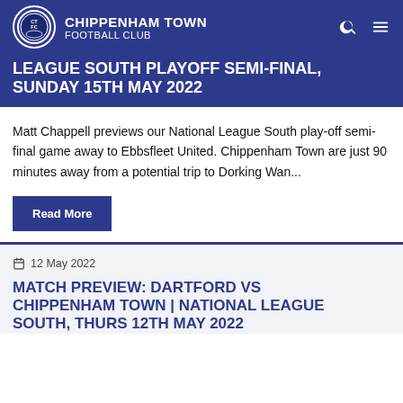CHIPPENHAM TOWN FOOTBALL CLUB
LEAGUE SOUTH PLAYOFF SEMI-FINAL, SUNDAY 15TH MAY 2022
Matt Chappell previews our National League South play-off semi-final game away to Ebbsfleet United. Chippenham Town are just 90 minutes away from a potential trip to Dorking Wan...
Read More
12 May 2022
MATCH PREVIEW: DARTFORD VS CHIPPENHAM TOWN | NATIONAL LEAGUE SOUTH, THURS 12TH MAY 2022